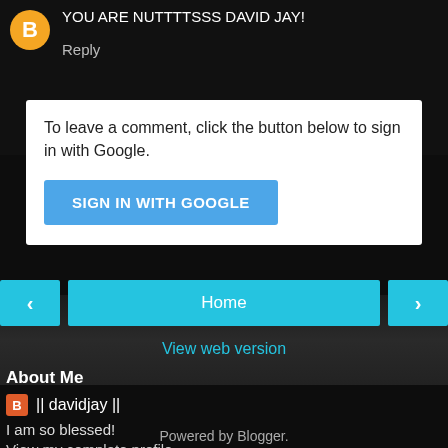YOU ARE NUTTTTSSS DAVID JAY!
Reply
To leave a comment, click the button below to sign in with Google.
SIGN IN WITH GOOGLE
Home
View web version
About Me
|| davidjay ||
I am so blessed!
View my complete profile
Powered by Blogger.